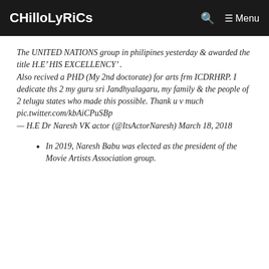CHilloLyRiCs | Menu
The UNITED NATIONS group in philipines yesterday & awarded the title H.E’ HIS EXCELLENCY’ . Also recived a PHD (My 2nd doctorate) for arts frm ICDRHRP. I dedicate ths 2 my guru sri Jandhyalagaru, my family & the people of 2 telugu states who made this possible. Thank u v much pic.twitter.com/kbAiCPuSBp
— H.E Dr Naresh VK actor (@ItsActorNaresh) March 18, 2018
In 2019, Naresh Babu was elected as the president of the Movie Artists Association group.